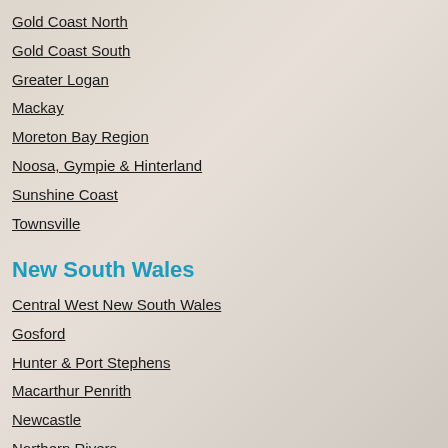Gold Coast North
Gold Coast South
Greater Logan
Mackay
Moreton Bay Region
Noosa, Gympie & Hinterland
Sunshine Coast
Townsville
New South Wales
Central West New South Wales
Gosford
Hunter & Port Stephens
Macarthur Penrith
Newcastle
Northern Rivers
Padstow St George